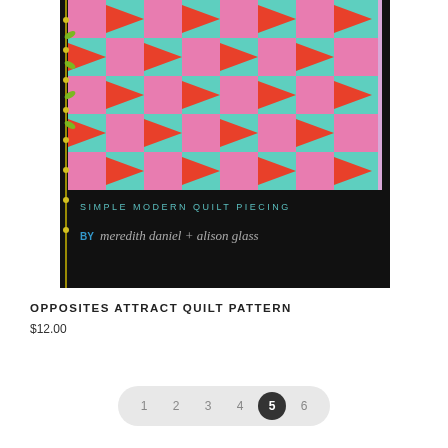[Figure (photo): Book cover for 'Opposites Attract Quilt Pattern' showing a colorful quilt with geometric arrow/heart shapes in pink, teal, and red on a dark background. Text reads 'SIMPLE MODERN QUILT PIECING' and 'BY meredith daniel + alison glass'. Yellow vine decoration on left spine.]
OPPOSITES ATTRACT QUILT PATTERN
$12.00
Pagination: 1 2 3 4 5 (active) 6